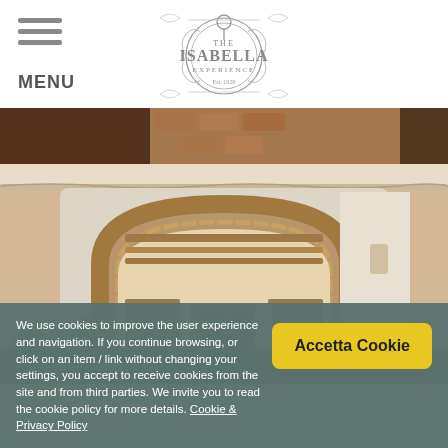[Figure (logo): The Isabella Experience logo — ornate circular emblem with key motif, Est. 1928, decorative flourishes]
[Figure (photo): Top strip photo: dark wooden furniture and terracotta brick ceiling detail]
[Figure (photo): Main photo: interior of Tuscan building showing large brick arch, wooden beam ceiling, doors and cabinetry visible through arch]
[Figure (photo): Partial round avatar photo of a person, partially obscured by cookie banner]
We use cookies to improve the user experience and navigation. If you continue browsing, or click on an item / link without changing your settings, you accept to receive cookies from the site and from third parties. We invite you to read the cookie policy for more details. Cookie & Privacy Policy